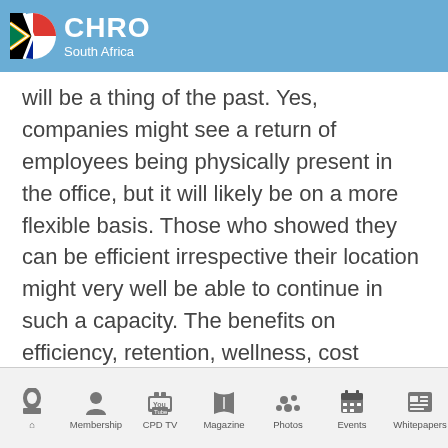CHRO South Africa
will be a thing of the past. Yes, companies might see a return of employees being physically present in the office, but it will likely be on a more flexible basis. Those who showed they can be efficient irrespective their location might very well be able to continue in such a capacity. The benefits on efficiency, retention, wellness, cost savings, and access to untapped talent could be significant for those companies that maximise this opportunity.
END
Membership | CPD TV | Magazine | Photos | Events | Whitepapers | Pa...